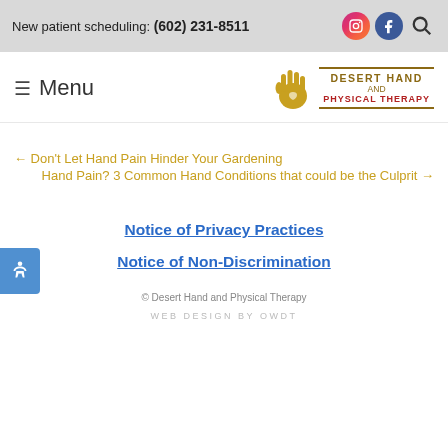New patient scheduling: (602) 231-8511
[Figure (logo): Desert Hand and Physical Therapy logo with hand icon and text]
≡ Menu
← Don't Let Hand Pain Hinder Your Gardening
Hand Pain? 3 Common Hand Conditions that could be the Culprit →
Notice of Privacy Practices
Notice of Non-Discrimination
© Desert Hand and Physical Therapy
WEB DESIGN BY OWDT